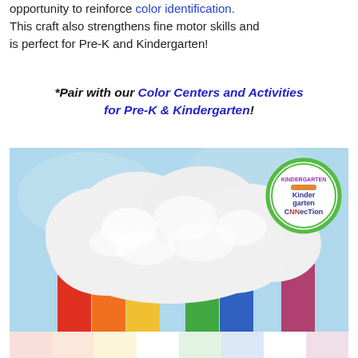opportunity to reinforce color identification. This craft also strengthens fine motor skills and is perfect for Pre-K and Kindergarten!
*Pair with our Color Centers and Activities for Pre-K & Kindergarten!
[Figure (photo): Photo of a cotton-ball cloud craft on a light blue background with rainbow colored paper strips (red, orange, yellow, green, blue, purple) underneath the cloud, and a green circular Kindergarten Connection logo in the top right corner.]